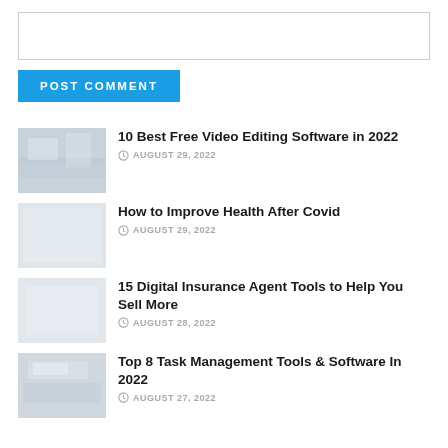[Figure (other): Empty textarea input box for comment]
POST COMMENT
10 Best Free Video Editing Software in 2022 — AUGUST 29, 2022
How to Improve Health After Covid — AUGUST 29, 2022
15 Digital Insurance Agent Tools to Help You Sell More — AUGUST 28, 2022
Top 8 Task Management Tools & Software In 2022 — AUGUST 27, 2022